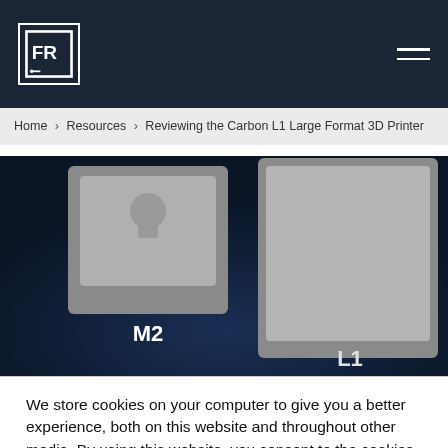FR logo | hamburger menu
Home > Resources > Reviewing the Carbon L1 Large Format 3D Printer
[Figure (photo): Dark blue background image comparing Carbon M2 and L1 3D printers side by side, with 'M2' and 'L1' labels in white text]
We store cookies on your computer to give you a better experience, both on this website and throughout other media. By using this website, you consent to the cookies we use and our Privacy Policy. Opt-Out.
Cookie settings   ACCEPT